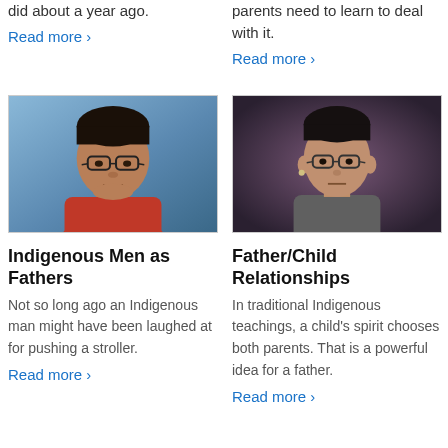did about a year ago.
Read more ›
parents need to learn to deal with it.
Read more ›
[Figure (photo): Indigenous man with glasses and dark hair pulled back, wearing a red shirt, against a blue background]
Indigenous Men as Fathers
Not so long ago an Indigenous man might have been laughed at for pushing a stroller.
Read more ›
[Figure (photo): Young person with glasses and short dark hair, wearing a grey shirt, against a purple/dark background]
Father/Child Relationships
In traditional Indigenous teachings, a child's spirit chooses both parents. That is a powerful idea for a father.
Read more ›